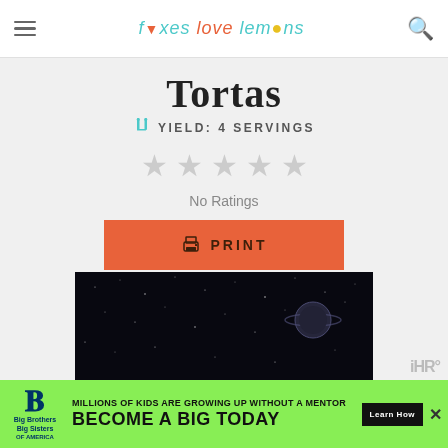foxes love lemons
Tortas
YIELD: 4 SERVINGS
[Figure (other): Five empty/unfilled grey star rating icons]
No Ratings
[Figure (other): Orange PRINT button with printer icon]
[Figure (photo): Dark space/night sky photograph with stars and a planet visible]
[Figure (other): Big Brothers Big Sisters advertisement banner: 'MILLIONS OF KIDS ARE GROWING UP WITHOUT A MENTOR. BECOME A BIG TODAY' with Learn How button]